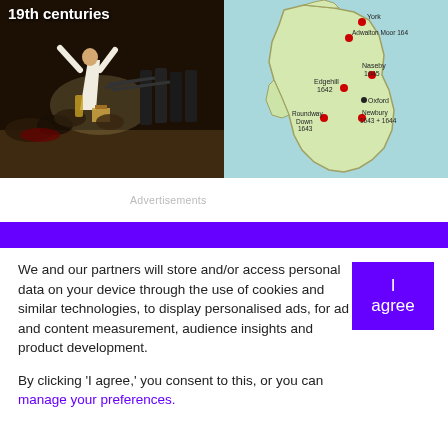[Figure (photo): Goya's Third of May painting showing execution scene, dark tones, soldiers firing at civilians. Title text '19th centuries' overlaid in white bold text top-left.]
[Figure (map): Map of England and Wales showing battle locations of English Civil War: York, Adwalton Moor 1643, Naseby 1645, Edgehill 1642, Oxford, Roundway Down 1643, Newbury 1643+1644. Red dots mark battle sites.]
Advertisements
[Figure (other): Solid purple/blue banner bar]
We and our partners will store and/or access personal data on your device through the use of cookies and similar technologies, to display personalised ads, for ad and content measurement, audience insights and product development.
By clicking 'I agree,' you consent to this, or you can manage your preferences.